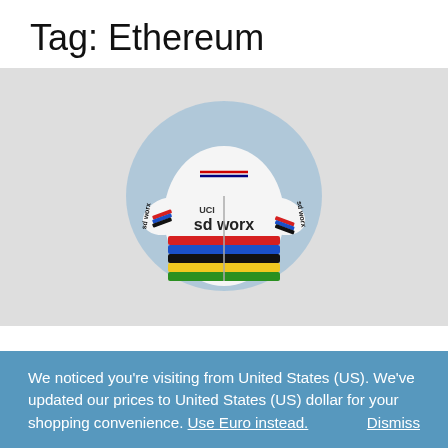Tag: Ethereum
[Figure (illustration): Hand-drawn illustration of a white cycling jersey with rainbow stripes (UCI World Champion design) and 'sd worx' branding, set against a light blue circular background on a grey paper surface.]
We noticed you're visiting from United States (US). We've updated our prices to United States (US) dollar for your shopping convenience. Use Euro instead. Dismiss